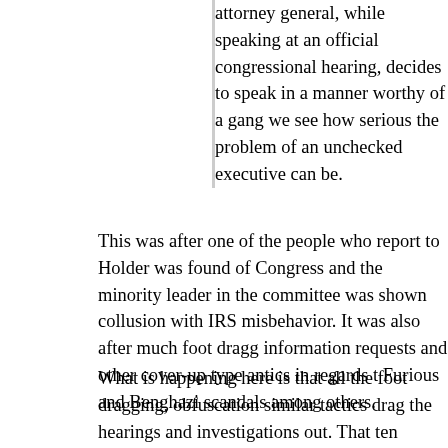attorney general, while speaking at an official congressional hearing, decides to speak in a manner worthy of a gang we see how serious the problem of an unchecked executive can be.
This was after one of the people who report to Holder was found of Congress and the minority leader in the committee was shown in collusion with IRS misbehavior. It was also after much foot dragging on information requests and other cover-up type antics in regards to Fast and Furious and Benghazi scandals among others.
What is happening here is that all the foot dragging, obfuscation and similar tactics drag the hearings and investigations out. That ten-year investigation is then being used as proof that there is nothing there or that the committee chair is an incompetent boob (as per Bob Beckel)
In previous scandals of this weight, members of both parties – all were after the evidence. Not this time. Again, the fact that the investigation is partisan is being used as an upside down excuse. The party doing the obstruction, the party with members involved in collusion, is using that to condemn the investigation and to cover over transparency and